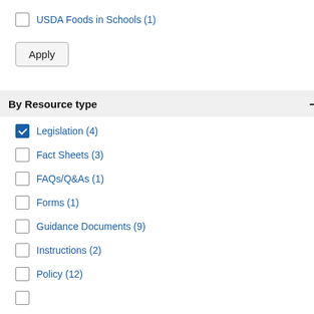USDA Foods in Schools (1)
Apply
By Resource type
Legislation (4)
Fact Sheets (3)
FAQs/Q&As (1)
Forms (1)
Guidance Documents (9)
Instructions (2)
Policy (12)